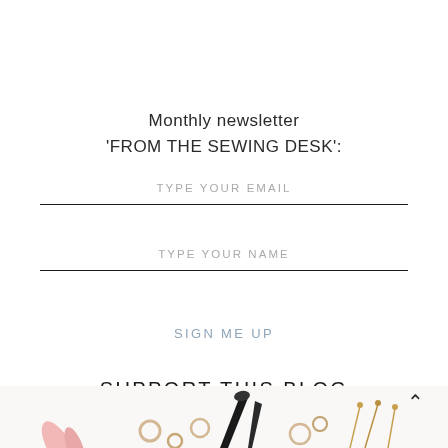Monthly newsletter 'FROM THE SEWING DESK':
TYPE YOUR EMAIL
TYPE YOUR NAME
SIGN ME UP
SUPPORT THIS BLOG
[Figure (photo): Partial view of sewing accessories and tools on a white background, including scissors, rings, and other notions, with a decorative script logo visible.]